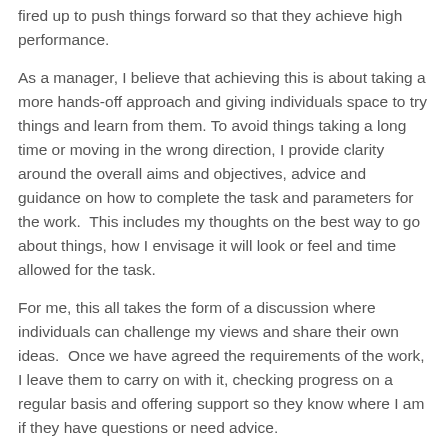fired up to push things forward so that they achieve high performance.
As a manager, I believe that achieving this is about taking a more hands-off approach and giving individuals space to try things and learn from them. To avoid things taking a long time or moving in the wrong direction, I provide clarity around the overall aims and objectives, advice and guidance on how to complete the task and parameters for the work.  This includes my thoughts on the best way to go about things, how I envisage it will look or feel and time allowed for the task.
For me, this all takes the form of a discussion where individuals can challenge my views and share their own ideas.  Once we have agreed the requirements of the work, I leave them to carry on with it, checking progress on a regular basis and offering support so they know where I am if they have questions or need advice.